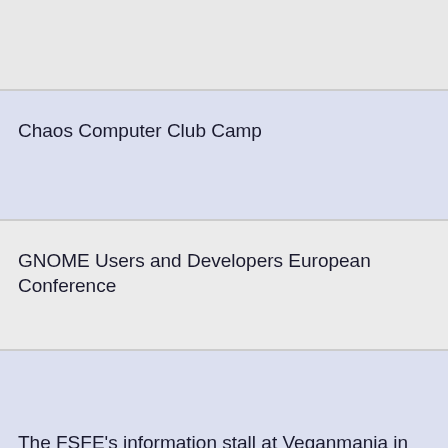Chaos Computer Club Camp
GNOME Users and Developers European Conference
The FSFE's information stall at Veganmania in Donauinsel in